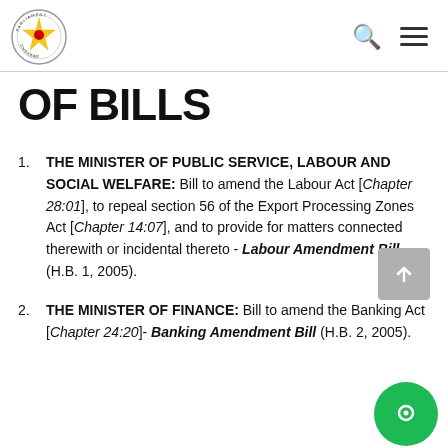Parliament of Zimbabwe logo with search and menu icons
OF BILLS
THE MINISTER OF PUBLIC SERVICE, LABOUR AND SOCIAL WELFARE: Bill to amend the Labour Act [Chapter 28:01], to repeal section 56 of the Export Processing Zones Act [Chapter 14:07], and to provide for matters connected therewith or incidental thereto - Labour Amendment Bill (H.B. 1, 2005).
THE MINISTER OF FINANCE: Bill to amend the Banking Act [Chapter 24:20]- Banking Amendment Bill (H.B. 2, 2005).